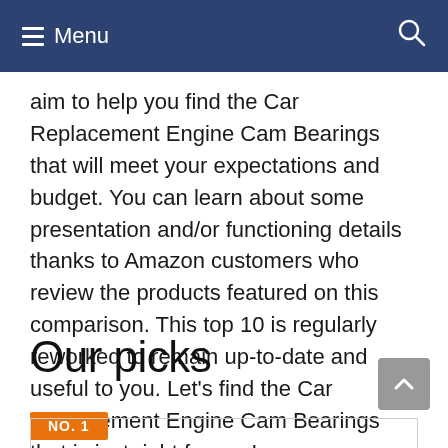Menu
aim to help you find the Car Replacement Engine Cam Bearings that will meet your expectations and budget. You can learn about some presentation and/or functioning details thanks to Amazon customers who review the products featured on this comparison. This top 10 is regularly reworked to remain up-to-date and useful to you. Let’s find the Car Replacement Engine Cam Bearings that is just right for you!
Our picks
NO. 1